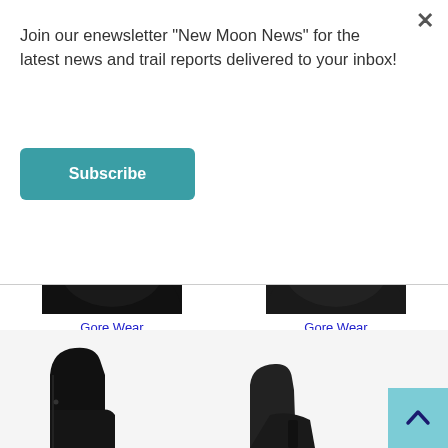Join our enewsletter "New Moon News" for the latest news and trail reports delivered to your inbox!
Subscribe
Gore Wear
C3 GORE-TEX Overshoes
$90.00
Gore Wear
C5 GORE WINDSTOPPER Thermo Overshoes
$90.00
[Figure (photo): Black cycling overshoe (left product) partially visible at top]
[Figure (photo): Black cycling overshoe with GORE label (right product) partially visible at top]
[Figure (photo): Black ankle boot shoe, bottom portion visible]
[Figure (photo): Black ankle boot shoe, bottom portion visible on the right side]